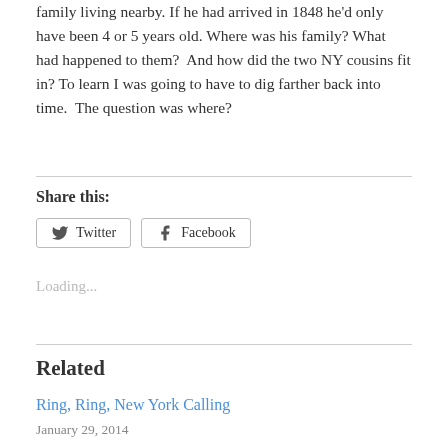family living nearby. If he had arrived in 1848 he'd only have been 4 or 5 years old. Where was his family? What had happened to them?  And how did the two NY cousins fit in? To learn I was going to have to dig farther back into time.  The question was where?
Share this:
Loading...
Related
Ring, Ring, New York Calling
January 29, 2014